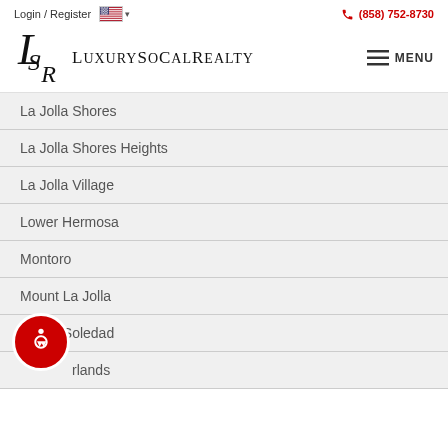Login / Register | (858) 752-8730 | LuxurySoCalRealty | MENU
La Jolla Shores
La Jolla Shores Heights
La Jolla Village
Lower Hermosa
Montoro
Mount La Jolla
Mount Soledad
…rlands